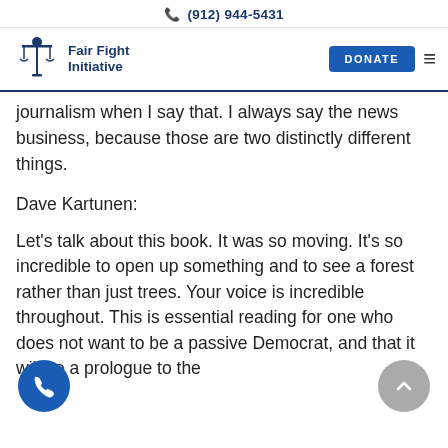(912) 944-5431
[Figure (logo): Fair Fight Initiative logo with scales of justice and fist, navy blue, with DONATE button and hamburger menu]
journalism when I say that. I always say the news business, because those are two distinctly different things.
Dave Kartunen:
Let's talk about this book. It was so moving. It's so incredible to open up something and to see a forest rather than just trees. Your voice is incredible throughout. This is essential reading for one who does not want to be a passive Democrat, and that it will be a prologue to the